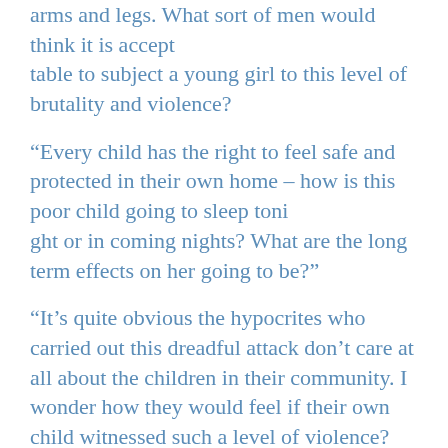arms and legs. What sort of men would think it is accept
table to subject a young girl to this level of brutality and violence?
“Every child has the right to feel safe and protected in their own home – how is this poor child going to sleep toni
ght or in coming nights? What are the long term effects on her going to be?”
“It’s quite obvious the hypocrites who carried out this dreadful attack don’t care at all about the children in their community. I wonder how they would feel if their own child witnessed such a level of violence?
“There is absolutely no justification for an attack like this in our communities and we must all work